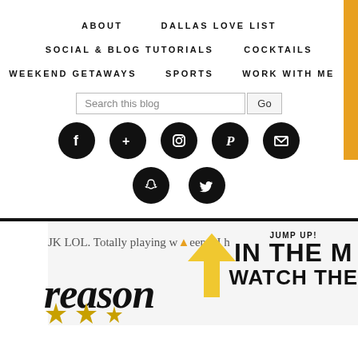ABOUT   DALLAS LOVE LIST
SOCIAL & BLOG TUTORIALS   COCKTAILS
WEEKEND GETAWAYS   SPORTS   WORK WITH ME
[Figure (screenshot): Blog navigation header with search box, social media icons (Facebook, Google+, Instagram, Pinterest, Email, Snapchat, Twitter), and partial blog post preview showing 'reason' text and 'JUMP UP! IN THE M... WATCH THE...' with yellow arrow]
JK LOL. Totally playing w... eeps. I h
reason
JUMP UP! IN THE M WATCH THE